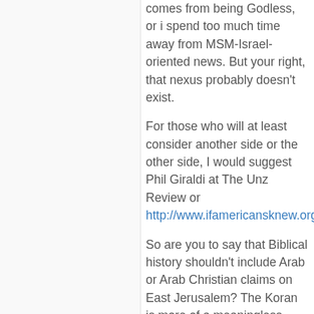comes from being Godless, or i spend too much time away from MSM-Israel-oriented news. But your right, that nexus probably doesn't exist.
For those who will at least consider another side or the other side, I would suggest Phil Giraldi at The Unz Review or http://www.ifamericansknew.org.
So are you to say that Biblical history shouldn't include Arab or Arab Christian claims on East Jerusalem? The Koran is more of a meaningless document than the Bible.
I'm not here to give Iran a free pass. Only the US gets that.